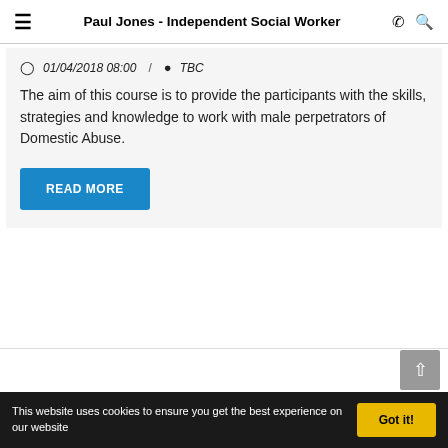Paul Jones - Independent Social Worker
01/04/2018 08:00 / TBC
The aim of this course is to provide the participants with the skills, strategies and knowledge to work with male perpetrators of Domestic Abuse.
READ MORE
This website uses cookies to ensure you get the best experience on our website
Got it!